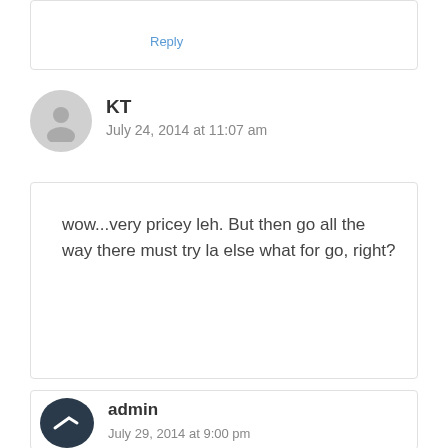Reply
KT
July 24, 2014 at 11:07 am
wow...very pricey leh. But then go all the way there must try la else what for go, right?
Reply
admin
July 29, 2014 at 9:00 pm